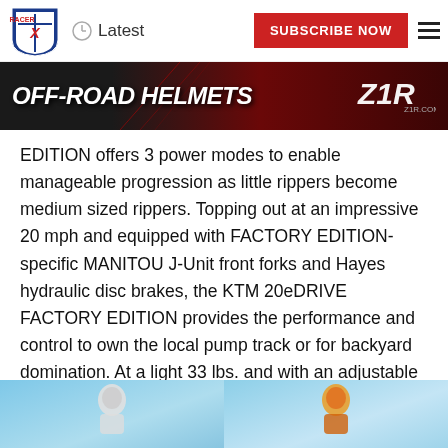Latest | SUBSCRIBE NOW
[Figure (photo): Z1R Off-Road Helmets advertisement banner with dark red background and helmet imagery]
EDITION offers 3 power modes to enable manageable progression as little rippers become medium sized rippers. Topping out at an impressive 20 mph and equipped with FACTORY EDITION-specific MANITOU J-Unit front forks and Hayes hydraulic disc brakes, the KTM 20eDRIVE FACTORY EDITION provides the performance and control to own the local pump track or for backyard domination. At a light 33 lbs. and with an adjustable 23 inch seat, the KTM 20eDRIVE FACTORY EDITION is ideal for kids between the ages of 10-12 and up to 115 lbs.
[Figure (photo): Two photos of riders on KTM 20eDRIVE bikes, shown side by side at the bottom of the page]